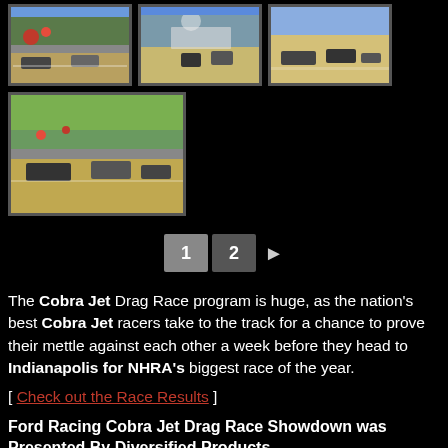[Figure (photo): Three small racing event photos showing drag race tracks with cars and spectators]
[Figure (photo): Larger racing event photo showing drag race track with cars]
1 2 ► pagination
The Cobra Jet Drag Race program is huge, as the nation's best Cobra Jet racers take to the track for a chance to prove their mettle against each other a week before they head to Indianapolis for NHRA's biggest race of the year.
[ Check out the Race Results ]
Ford Racing Cobra Jet Drag Race Showdown was Presented By Diversified Products
One of the unique things about this event is The Cobra Jet Showdown. The Cobra Jet program is huge, as Ford Racing knows every...